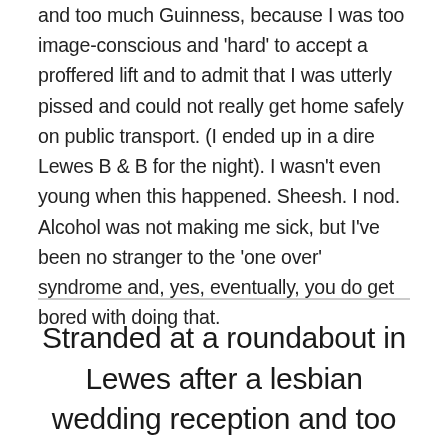and too much Guinness, because I was too image-conscious and 'hard' to accept a proffered lift and to admit that I was utterly pissed and could not really get home safely on public transport. (I ended up in a dire Lewes B & B for the night). I wasn't even young when this happened. Sheesh. I nod. Alcohol was not making me sick, but I've been no stranger to the 'one over' syndrome and, yes, eventually, you do get bored with doing that.
Stranded at a roundabout in Lewes after a lesbian wedding reception and too much Guinness